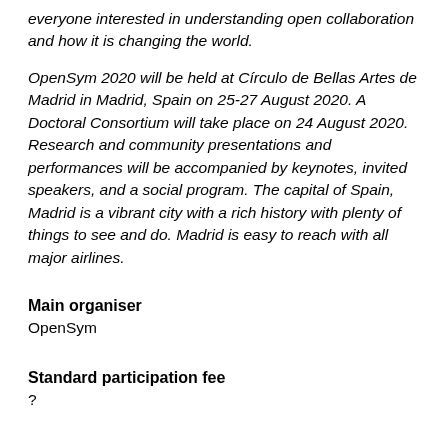everyone interested in understanding open collaboration and how it is changing the world.
OpenSym 2020 will be held at Círculo de Bellas Artes de Madrid in Madrid, Spain on 25-27 August 2020. A Doctoral Consortium will take place on 24 August 2020. Research and community presentations and performances will be accompanied by keynotes, invited speakers, and a social program. The capital of Spain, Madrid is a vibrant city with a rich history with plenty of things to see and do. Madrid is easy to reach with all major airlines.
Main organiser
OpenSym
Standard participation fee
?